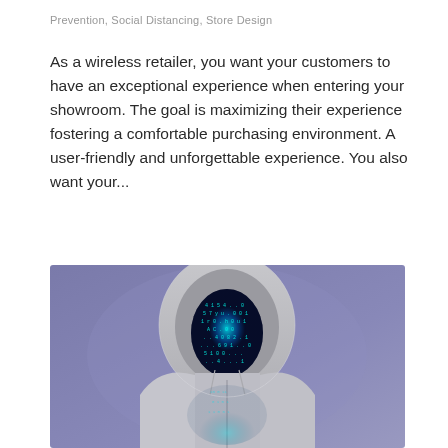Prevention, Social Distancing, Store Design
As a wireless retailer, you want your customers to have an exceptional experience when entering your showroom. The goal is maximizing their experience fostering a comfortable purchasing environment. A user-friendly and unforgettable experience. You also want your...
[Figure (photo): Person wearing a grey hoodie with digital/matrix-style data overlay on their face instead of facial features, against a purple-grey background — representing anonymity or cyber security themes.]